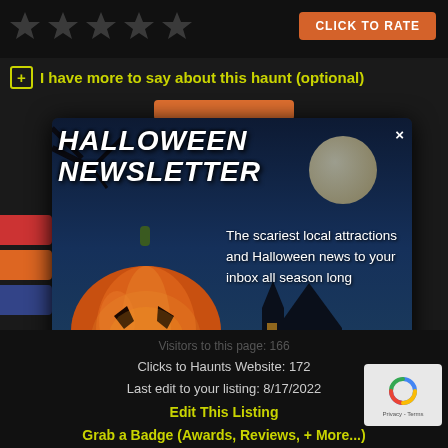[Figure (screenshot): Top area with star rating icons and CLICK TO RATE orange button]
+ I have more to say about this haunt (optional)
[Figure (screenshot): Halloween Newsletter popup modal with pumpkin, haunted house, moon, graveyard scene, newsletter signup form with email input and Join button, Illinois Edition text]
The scariest local attractions and Halloween news to your inbox all season long
• Illinois Edition •
[your email]
Join
Visitors to this page: 166
Clicks to Haunts Website: 172
Last edit to your listing: 8/17/2022
Edit This Listing
Grab a Badge (Awards, Reviews, + More...)